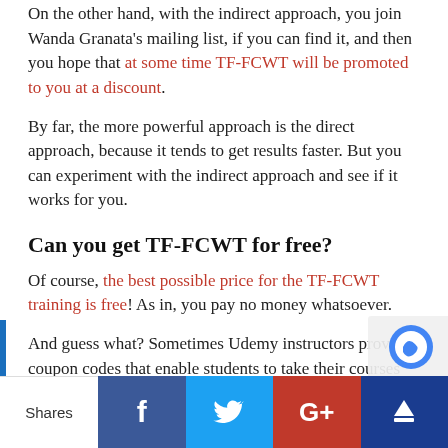On the other hand, with the indirect approach, you join Wanda Granata's mailing list, if you can find it, and then you hope that at some time TF-FCWT will be promoted to you at a discount.
By far, the more powerful approach is the direct approach, because it tends to get results faster. But you can experiment with the indirect approach and see if it works for you.
Can you get TF-FCWT for free?
Of course, the best possible price for the TF-FCWT training is free! As in, you pay no money whatsoever.
And guess what? Sometimes Udemy instructors provide coupon codes that enable students to take their courses for free. So, perhaps it's possible that Wanda Granata has done this.
Shares | Facebook | Twitter | Google+ | Crown